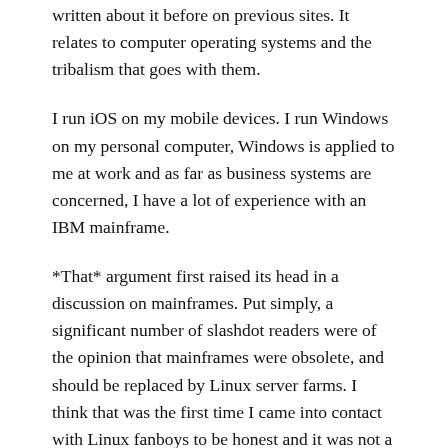written about it before on previous sites. It relates to computer operating systems and the tribalism that goes with them.
I run iOS on my mobile devices. I run Windows on my personal computer, Windows is applied to me at work and as far as business systems are concerned, I have a lot of experience with an IBM mainframe.
*That* argument first raised its head in a discussion on mainframes. Put simply, a significant number of slashdot readers were of the opinion that mainframes were obsolete, and should be replaced by Linux server farms. I think that was the first time I came into contact with Linux fanboys to be honest and it was not a pleasant relationship. A key issue I had with the whole argument was that they were unfamiliar with what mainframes did, had to do, but assumed their shiny server farms could do it